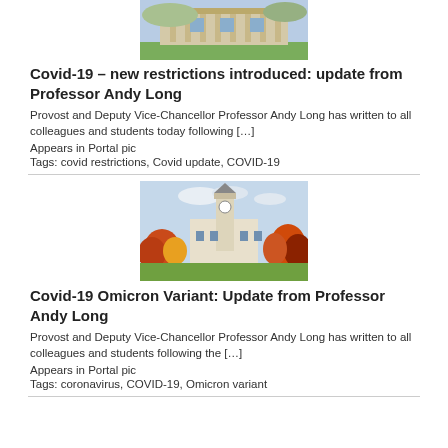[Figure (photo): Aerial or ground-level view of a university building with classical architecture and green lawn]
Covid-19 – new restrictions introduced: update from Professor Andy Long
Provost and Deputy Vice-Chancellor Professor Andy Long has written to all colleagues and students today following […]
Appears in Portal pic
Tags: covid restrictions, Covid update, COVID-19
[Figure (photo): University campus building with a clock tower surrounded by autumn-coloured trees]
Covid-19 Omicron Variant: Update from Professor Andy Long
Provost and Deputy Vice-Chancellor Professor Andy Long has written to all colleagues and students following the […]
Appears in Portal pic
Tags: coronavirus, COVID-19, Omicron variant